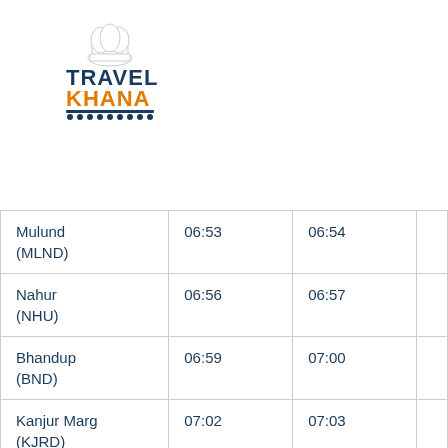[Figure (logo): Travel Khana logo with chef hat icon, 'TRAVEL' in dark blue and 'KHANA' in orange text, with decorative line below]
| Mulund (MLND) | 06:53 | 06:54 |  |
| Nahur (NHU) | 06:56 | 06:57 |  |
| Bhandup (BND) | 06:59 | 07:00 |  |
| Kanjur Marg (KJRD) | 07:02 | 07:03 |  |
| Vikhroli (VK) | 07:05 | 07:06 |  |
| Ghatkopar (GC) | 07:09 | 07:10 |  |